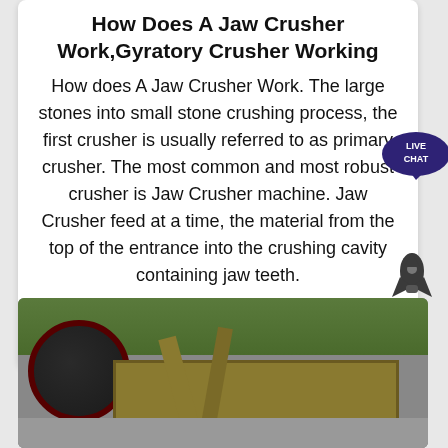How Does A Jaw Crusher Work,Gyratory Crusher Working
How does A Jaw Crusher Work. The large stones into small stone crushing process, the first crusher is usually referred to as primary crusher. The most common and most robust crusher is Jaw Crusher machine. Jaw Crusher feed at a time, the material from the top of the entrance into the crushing cavity containing jaw teeth.
[Figure (other): Blue rounded button labeled 'view more']
[Figure (photo): Photograph of a jaw crusher machine outdoors on gravel/grass ground, showing a large dark flywheel and yellow/gold metal frame components]